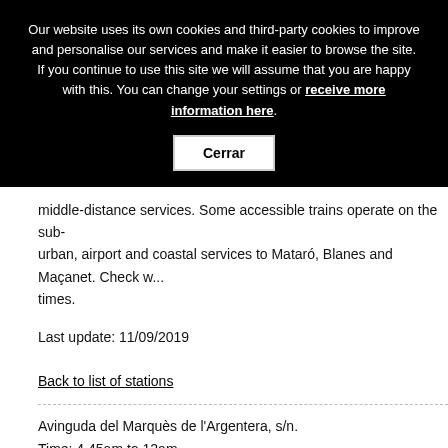Our website uses its own cookies and third-party cookies to improve and personalise our services and make it easier to browse the site. If you continue to use this site we will assume that you are happy with this. You can change your settings or receive more information here.
Cerrar
middle-distance services. Some accessible trains operate on the sub-urban, airport and coastal services to Mataró, Blanes and Maçanet. Check w... times.
Last update: 11/09/2019
Back to list of stations
Avinguda del Marquès de l'Argentera, s/n.
Time: 4.45am to 12am.
Metro: L4-Barceloneta. Bus: 47, 59, 120, D20, H14, V13, V15, V17 i V19.
The building dates back to 1929 and is one of the most important examples of Barcelona's França Station are of relevance: the large lobby covered by three...